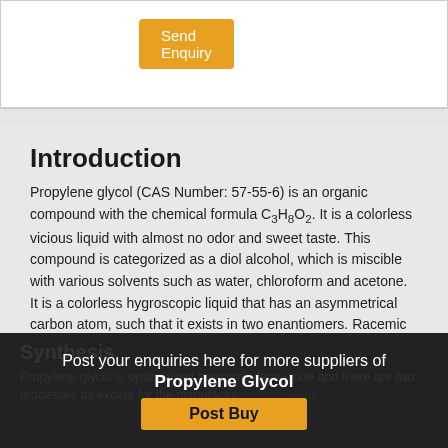[Figure (screenshot): White box with Send Enquiry button in orange/gold color]
Introduction
Propylene glycol (CAS Number: 57-55-6) is an organic compound with the chemical formula C3H8O2. It is a colorless vicious liquid with almost no odor and sweet taste. This compound is categorized as a diol alcohol, which is miscible with various solvents such as water, chloroform and acetone. It is a colorless hygroscopic liquid that has an asymmetrical carbon atom, such that it exists in two enantiomers. Racemic mixture is the commercial product. It has very low toxicity and volatility.
Synthesis
Propylene glycol is synthesized from propylene oxide and there are two processes as except for the manufacture of propylene method that proceeds as
Post your enquiries here for more suppliers of Propylene Glycol
[Figure (screenshot): Post Buy button in orange/gold color]